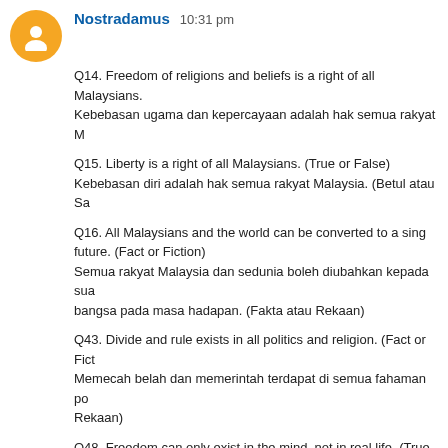Nostradamus  10:31 pm
Q14. Freedom of religions and beliefs is a right of all Malaysians. Kebebasan ugama dan kepercayaan adalah hak semua rakyat M…
Q15. Liberty is a right of all Malaysians. (True or False) Kebebasan diri adalah hak semua rakyat Malaysia. (Betul atau Sa…
Q16. All Malaysians and the world can be converted to a sing… future. (Fact or Fiction) Semua rakyat Malaysia dan sedunia boleh diubahkan kepada sua… bangsa pada masa hadapan. (Fakta atau Rekaan)
Q43. Divide and rule exists in all politics and religion. (Fact or Fict… Memecah belah dan memerintah terdapat di semua fahaman po… Rekaan)
Q48. Freedom can only exist in the mind, not in real life. (True or F… Kebebasan Cuma didapati dalam minda, tidak di dunia nyata. (Be…
Q49. Race and Religious supremacy are preached by satans. (Tr… Ketuanan bangsa dan ugama adalah dikutbah oleh syaitan. (Betu…
Q50. Malaysian politicians are typical Jeyklls and Hydes. (True or… Ahli politik Malaysia melambangkan personality Jeyklls dan Hyde…
Answers at http://patek1472.wordpress.com